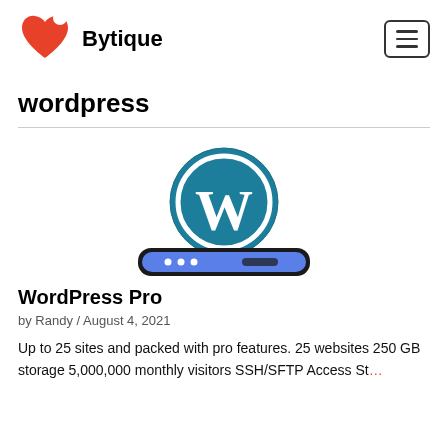Bytique
wordpress
[Figure (illustration): WordPress logo (teal circle with white W letter) above a dark rounded rectangle device bar with blue/purple background showing three white dots and a dark dash]
WordPress Pro
by Randy / August 4, 2021
Up to 25 sites and packed with pro features. 25 websites 250 GB storage 5,000,000 monthly visitors SSH/SFTP Access Staging hosting $100.00 per month Add to … Read M…